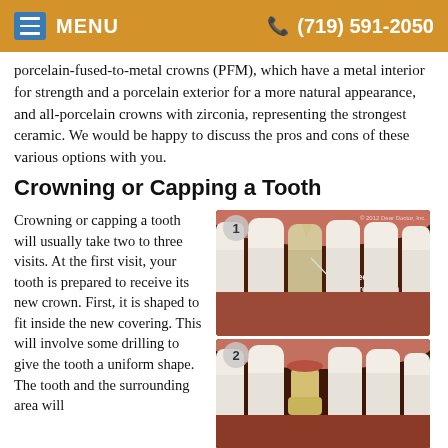MENU  (719) 591-2050
porcelain-fused-to-metal crowns (PFM), which have a metal interior for strength and a porcelain exterior for a more natural appearance, and all-porcelain crowns with zirconia, representing the strongest ceramic. We would be happy to discuss the pros and cons of these various options with you.
Crowning or Capping a Tooth
Crowning or capping a tooth will usually take two to three visits. At the first visit, your tooth is prepared to receive its new crown. First, it is shaped to fit inside the new covering. This will involve some drilling to give the tooth a uniform shape. The tooth and the surrounding area will
[Figure (illustration): Two-panel dental illustration showing: Panel 1 - Front teeth with a chipped and discolored tooth labeled 'Chipped & Discolored Tooth' with an arrow pointing to it; Panel 2 - The same area showing a prepared tooth stub ready for a crown. Copyright 2012 Dear Doctor, Inc.]